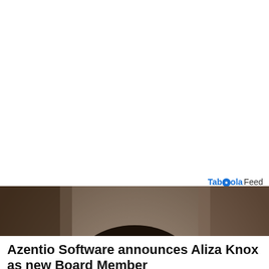[Figure (logo): Taboola Feed logo/label in top right corner]
[Figure (photo): Professional headshot of a woman with curly dark hair, smiling, wearing a black blazer and pearl necklace, against a gray/brown blurred background]
Azentio Software announces Aliza Knox as new Board Member